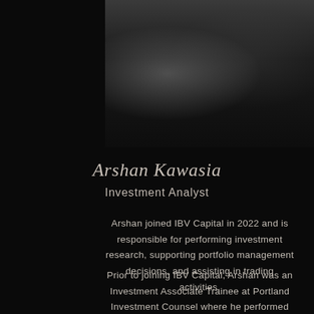[Figure (photo): Professional headshot/portrait photo on dark background]
Arshan Kawasia
Investment Analyst
Arshan joined IBV Capital in 2022 and is responsible for performing investment research, supporting portfolio management decisions, and assisting in trading activities.
Prior to joining IBV Capital, Arshan was an Investment Associate Trainee at Portland Investment Counsel where he performed investment analysis for both